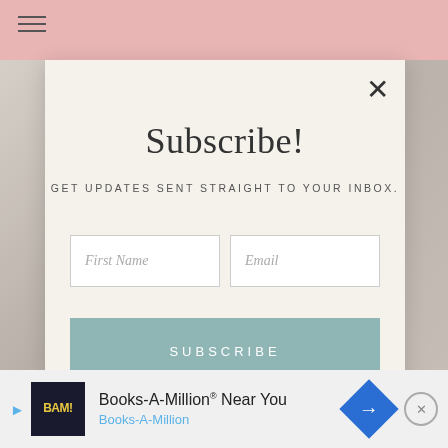[Figure (screenshot): Pink header bar with hamburger menu icon at top left]
[Figure (screenshot): Modal popup dialog with subscribe form on blurred background]
Subscribe!
GET UPDATES SENT STRAIGHT TO YOUR INBOX.
First Name
Email
SUBSCRIBE
[Figure (infographic): Books-A-Million advertisement banner at bottom with BAM logo, arrow icon, and close button]